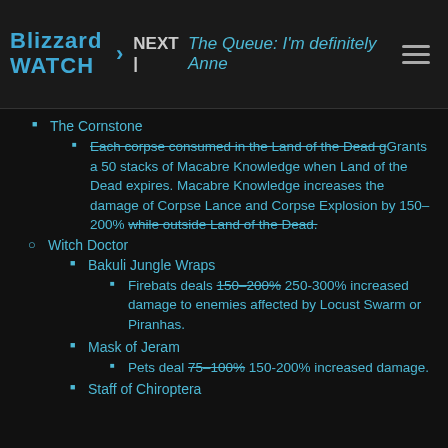Blizzard Watch | NEXT | The Queue: I'm definitely Anne
The Cornstone
Each corpse consumed in the Land of the Dead g[strikethrough] Grants a 50 stacks of Macabre Knowledge when Land of the Dead expires. Macabre Knowledge increases the damage of Corpse Lance and Corpse Explosion by 150–200% while outside Land of the Dead.[strikethrough end]
Witch Doctor
Bakuli Jungle Wraps
Firebats deals 150–200%[strikethrough] 250-300% increased damage to enemies affected by Locust Swarm or Piranhas.
Mask of Jeram
Pets deal 75–100%[strikethrough] 150-200% increased damage.
Staff of Chiroptera